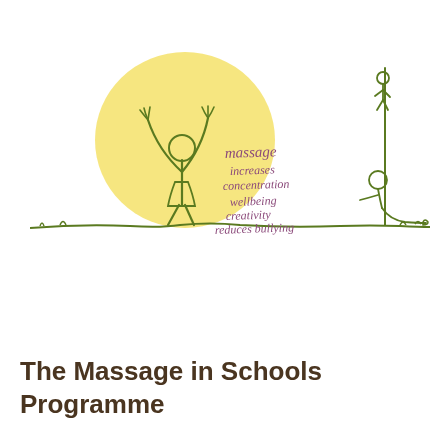[Figure (illustration): Hand-drawn illustration of a child figure with arms raised standing in front of a yellow sun/circle. Text in purple handwriting reads: 'massage increases concentration wellbeing creativity reduces bullying'. To the right is a sketched figure of a person resting/sitting against a wall, drawn in dark olive green line art. A ground line runs across the bottom of the scene.]
The Massage in Schools Programme